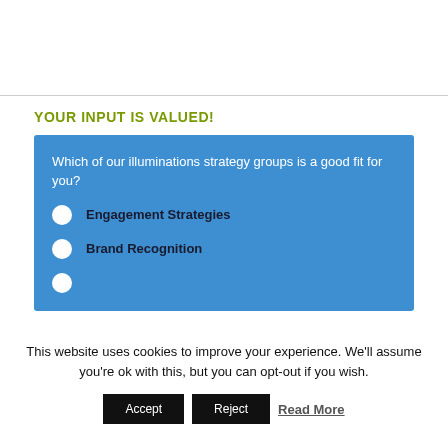YOUR INPUT IS VALUED!
Which of our illuminations strategy groups is a good fit for you?
Engagement Strategies
Brand Recognition
This website uses cookies to improve your experience. We'll assume you're ok with this, but you can opt-out if you wish.
Accept   Reject   Read More